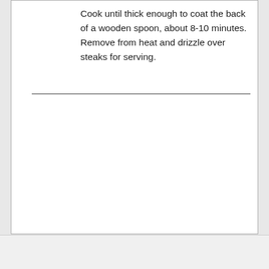Cook until thick enough to coat the back of a wooden spoon, about 8-10 minutes. Remove from heat and drizzle over steaks for serving.